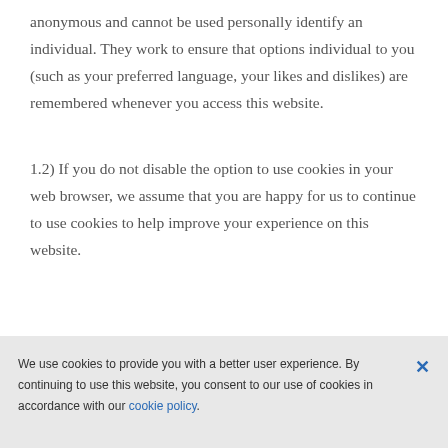anonymous and cannot be used personally identify an individual. They work to ensure that options individual to you (such as your preferred language, your likes and dislikes) are remembered whenever you access this website.
1.2) If you do not disable the option to use cookies in your web browser, we assume that you are happy for us to continue to use cookies to help improve your experience on this website.
We use cookies to provide you with a better user experience. By continuing to use this website, you consent to our use of cookies in accordance with our cookie policy.